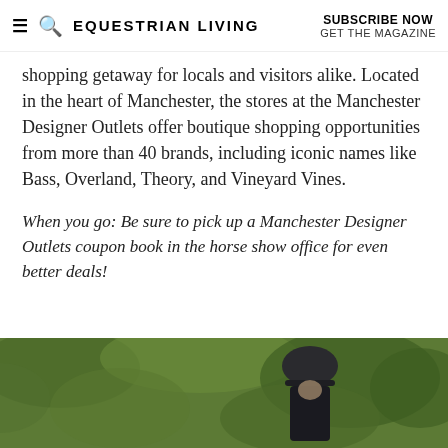≡ 🔍 EQUESTRIAN LIVING  SUBSCRIBE NOW  GET THE MAGAZINE
shopping getaway for locals and visitors alike. Located in the heart of Manchester, the stores at the Manchester Designer Outlets offer boutique shopping opportunities from more than 40 brands, including iconic names like Bass, Overland, Theory, and Vineyard Vines.
When you go: Be sure to pick up a Manchester Designer Outlets coupon book in the horse show office for even better deals!
[Figure (photo): Outdoor photo showing an equestrian rider wearing a dark helmet, with green foliage in the background.]